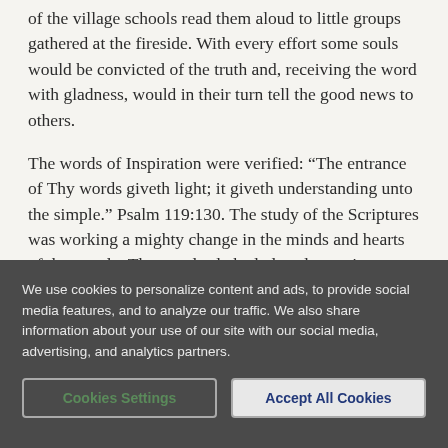of the village schools read them aloud to little groups gathered at the fireside. With every effort some souls would be convicted of the truth and, receiving the word with gladness, would in their turn tell the good news to others.
The words of Inspiration were verified: “The entrance of Thy words giveth light; it giveth understanding unto the simple.” Psalm 119:130. The study of the Scriptures was working a mighty change in the minds and hearts of the people. The papal rule had placed upon its subjects an iron yoke which held them in ignorance and degradation. A
We use cookies to personalize content and ads, to provide social media features, and to analyze our traffic. We also share information about your use of our site with our social media, advertising, and analytics partners.